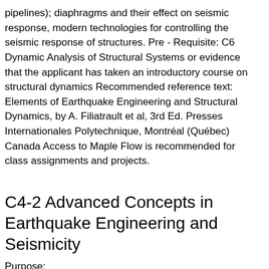pipelines); diaphragms and their effect on seismic response, modern technologies for controlling the seismic response of structures. Pre - Requisite: C6 Dynamic Analysis of Structural Systems or evidence that the applicant has taken an introductory course on structural dynamics Recommended reference text: Elements of Earthquake Engineering and Structural Dynamics, by A. Filiatrault et al, 3rd Ed. Presses Internationales Polytechnique, Montréal (Québec) Canada Access to Maple Flow is recommended for class assignments and projects.
C4-2 Advanced Concepts in Earthquake Engineering and Seismicity
Purpose:
This course covers advanced concepts of earthquake engineering and will provide the student with additional knowledge to perform seismic analyses and design of building